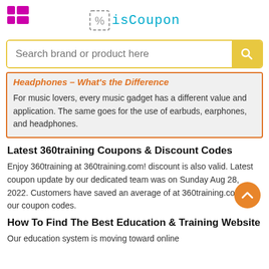isCoupon
Search brand or product here
Headphones – What's the Difference
For music lovers, every music gadget has a different value and application. The same goes for the use of earbuds, earphones, and headphones.
Latest 360training Coupons & Discount Codes
Enjoy 360training at 360training.com! discount is also valid. Latest coupon update by our dedicated team was on Sunday Aug 28, 2022. Customers have saved an average of at 360training.com with our coupon codes.
How To Find The Best Education & Training Website
Our education system is moving toward online